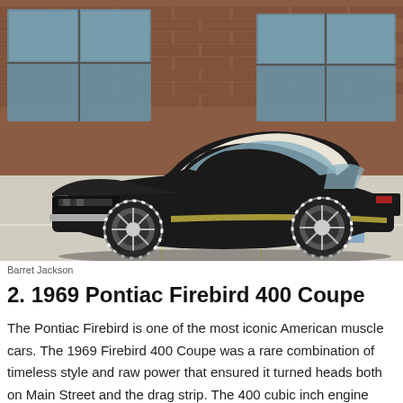[Figure (photo): Black 1968/1969 Ford Mustang convertible with white top, chrome Goodyear wheels, and side stripe graphics, parked on a concrete lot in front of a brick building with large windows.]
Barret Jackson
2. 1969 Pontiac Firebird 400 Coupe
The Pontiac Firebird is one of the most iconic American muscle cars. The 1969 Firebird 400 Coupe was a rare combination of timeless style and raw power that ensured it turned heads both on Main Street and the drag strip. The 400 cubic inch engine generated 345 horsepower, coupled with the consistently all